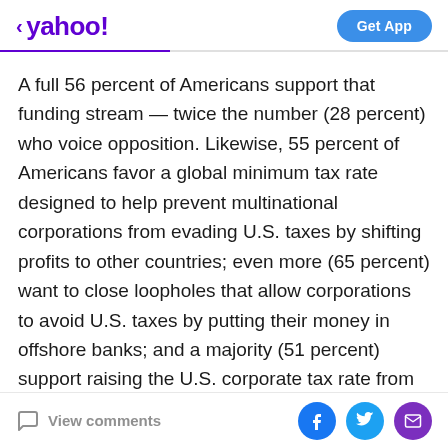< yahoo!   Get App
A full 56 percent of Americans support that funding stream — twice the number (28 percent) who voice opposition. Likewise, 55 percent of Americans favor a global minimum tax rate designed to help prevent multinational corporations from evading U.S. taxes by shifting profits to other countries; even more (65 percent) want to close loopholes that allow corporations to avoid U.S. taxes by putting their money in offshore banks; and a majority (51 percent) support raising the U.S. corporate tax rate from 21 percent to 28 percent to pay for infrastructure investments. Opposition to these Biden administration initiatives is low, ranging from 15
View comments